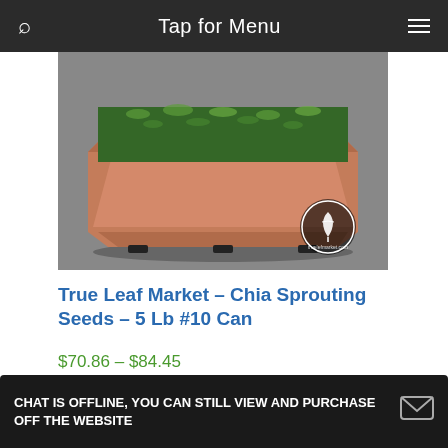Tap for Menu
[Figure (photo): Terracotta hexagonal planter box filled with green chia sprouts, with a True Leaf Market logo watermark in the bottom right corner.]
True Leaf Market – Chia Sprouting Seeds – 5 Lb #10 Can
$70.86 – $84.45
Select options
CHAT IS OFFLINE, YOU CAN STILL VIEW AND PURCHASE OFF THE WEBSITE